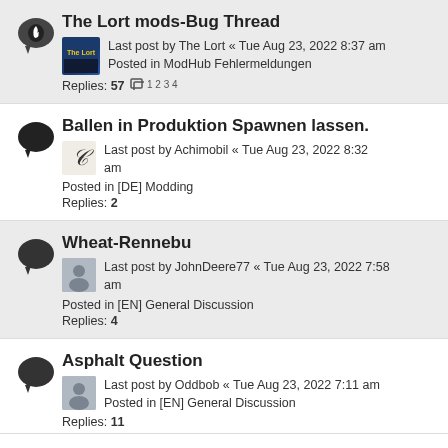The Lort mods-Bug Thread — Last post by The Lort « Tue Aug 23, 2022 8:37 am — Posted in ModHub Fehlermeldungen — Replies: 57 — pages: 1 2 3 4
Ballen in Produktion Spawnen lassen. — Last post by Achimobil « Tue Aug 23, 2022 8:32 am — Posted in [DE] Modding — Replies: 2
Wheat-Rennebu — Last post by JohnDeere77 « Tue Aug 23, 2022 7:58 am — Posted in [EN] General Discussion — Replies: 4
Asphalt Question — Last post by Oddbob « Tue Aug 23, 2022 7:11 am — Posted in [EN] General Discussion — Replies: 11